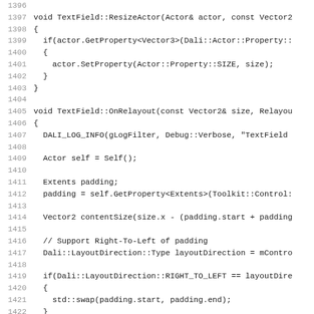Source code listing lines 1396-1427, showing C++ TextField class methods ResizeActor and OnRelayout